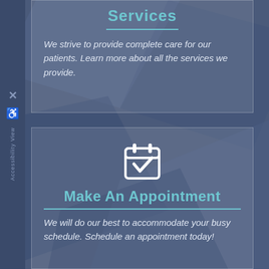[Figure (infographic): Accessibility View sidebar on the left with X close button, accessibility icon, and vertical text reading 'Accessibility View']
Services
We strive to provide complete care for our patients. Learn more about all the services we provide.
[Figure (illustration): White calendar icon with a checkmark inside, centered at top of appointment card]
Make An Appointment
We will do our best to accommodate your busy schedule. Schedule an appointment today!